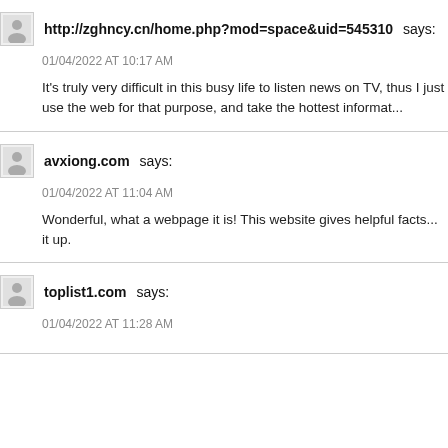http://zghncy.cn/home.php?mod=space&uid=545310 says:
01/04/2022 AT 10:17 AM
It's truly very difficult in this busy life to listen news on TV, thus I just use the web for that purpose, and take the hottest informat...
avxiong.com says:
01/04/2022 AT 11:04 AM
Wonderful, what a webpage it is! This website gives helpful facts... it up.
toplist1.com says:
01/04/2022 AT 11:28 AM